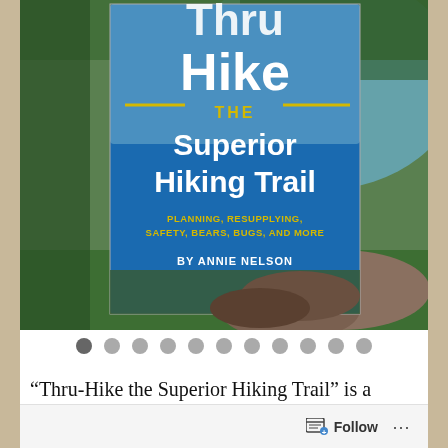[Figure (photo): Photo of a book titled 'Thru-Hike the Superior Hiking Trail: Planning, Resupplying, Safety, Bears, Bugs, and More by Annie Nelson' held up against a green leafy outdoor background with trees and water visible on the cover.]
“Thru-Hike the Superior Hiking Trail” is a guide for hiking the entire 310-mile Superior Hiking Trail in northern
Follow ...